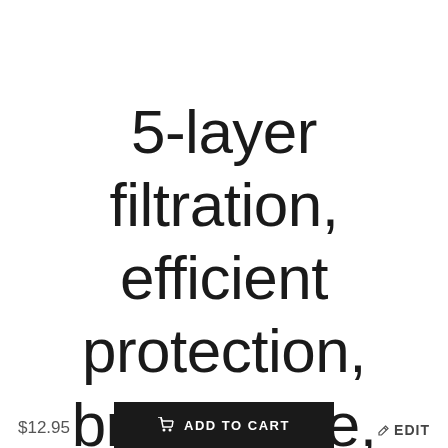5-layer filtration, efficient protection, breathable, and comfortable to
$12.95   ADD TO CART   EDIT